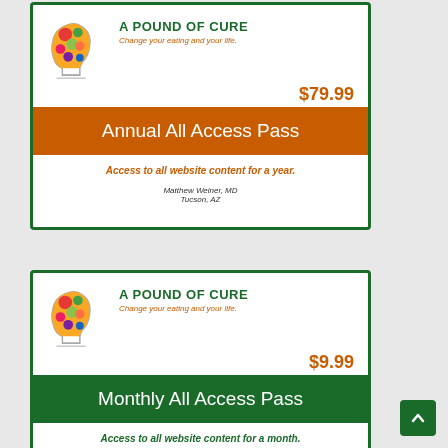[Figure (logo): A Pound of Cure logo: human head silhouette with colorful vegetables/fruits inside the brain area]
A POUND OF CURE
Change your eating and your life.
$79.99
Annual All Access Pass
Access to all website content for a year.
Matthew Weiner, MD
Tucson, AZ
[Figure (logo): A Pound of Cure logo: human head silhouette with colorful vegetables/fruits inside the brain area]
A POUND OF CURE
Change your eating and your life.
$9.99
Monthly All Access Pass
Access to all website content for a month.
Matthew Weiner, MD